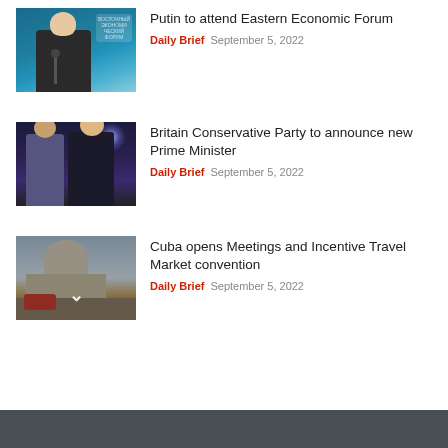[Figure (photo): Photo of Putin speaking at a podium with microphone at Eastern Economic Forum, blue background with logos]
Putin to attend Eastern Economic Forum
Daily Brief  September 5, 2022
[Figure (photo): Photo of two people (Rishi Sunak and Liz Truss) on a dark stage with spotlight, Conservative Party event]
Britain Conservative Party to announce new Prime Minister
Daily Brief  September 5, 2022
[Figure (photo): Photo of Havana Cuba street scene with capitol dome building, red vehicle, and a chevron overlay icon]
Cuba opens Meetings and Incentive Travel Market convention
Daily Brief  September 5, 2022